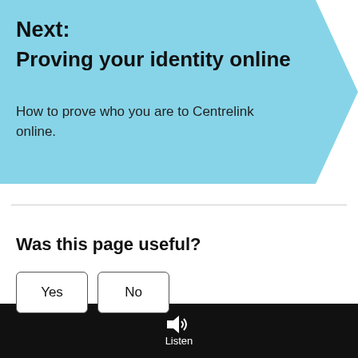[Figure (infographic): Light blue arrow/chevron banner pointing right, containing 'Next:' heading, subtitle 'Proving your identity online', and description text.]
Next:
Proving your identity online
How to prove who you are to Centrelink online.
Was this page useful?
[Figure (other): Yes and No buttons for feedback]
Listen